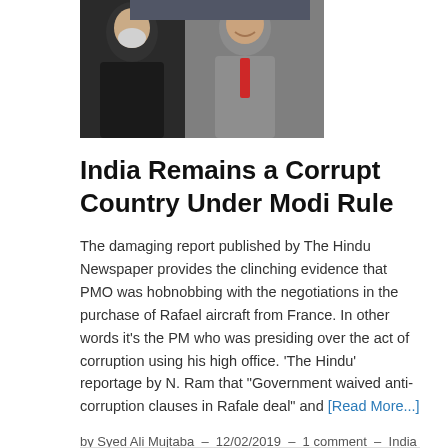[Figure (photo): Photo of two men, one in dark clothing and one in a suit with red tie, appearing to be at an official event]
India Remains a Corrupt Country Under Modi Rule
The damaging report published by The Hindu Newspaper provides the clinching evidence that PMO was hobnobbing with the negotiations in the purchase of Rafael aircraft from France. In other words it’s the PM who was presiding over the act of corruption using his high office. ‘The Hindu’ reportage by N. Ram that “Government waived anti-corruption clauses in Rafale deal” and [Read More...]
by Syed Ali Mujtaba – 12/02/2019 – 1 comment – India